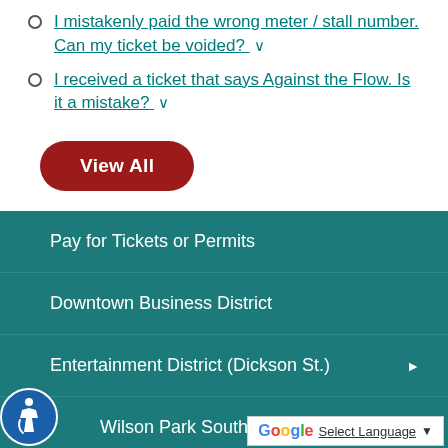I mistakenly paid the wrong meter / stall number. Can my ticket be voided?
I received a ticket that says Against the Flow. Is it a mistake?
View All
Pay for Tickets or Permits
Downtown Business District
Entertainment District (Dickson St.)
Wilson Park South Neighborhood